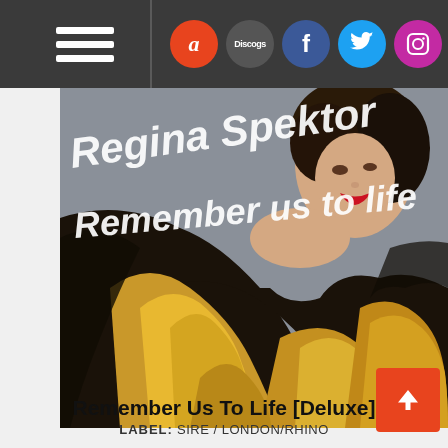[Figure (screenshot): Website navigation bar with hamburger menu and social media icons (Amazon, Discogs, Facebook, Twitter, Instagram, Email) on dark grey background]
[Figure (photo): Album cover art for Regina Spektor 'Remember Us To Life' showing a woman in a black and gold fur coat with handwritten text overlay]
Remember Us To Life [Deluxe]
LABEL: SIRE / LONDON/RHINO